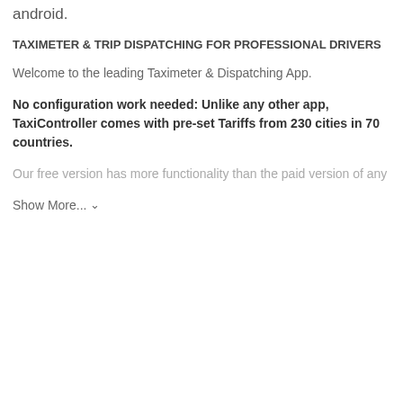android.
TAXIMETER & TRIP DISPATCHING FOR PROFESSIONAL DRIVERS
Welcome to the leading Taximeter & Dispatching App.
No configuration work needed: Unlike any other app, TaxiController comes with pre-set Tariffs from 230 cities in 70 countries.
Our free version has more functionality than the paid version of any
Show More... ∨